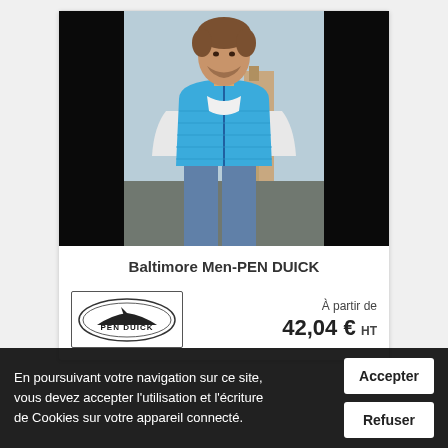[Figure (photo): Man wearing a blue quilted sleeveless vest (gilet) over a white shirt, jeans, photographed outdoors on a rooftop with black side panels framing the image.]
Baltimore Men-PEN DUICK
[Figure (logo): PEN DUICK brand logo: oval ellipse outline containing the text PEN DUICK with a stylized sailboat silhouette.]
À partir de
42,04 € HT
En poursuivant votre navigation sur ce site, vous devez accepter l'utilisation et l'écriture de Cookies sur votre appareil connecté.